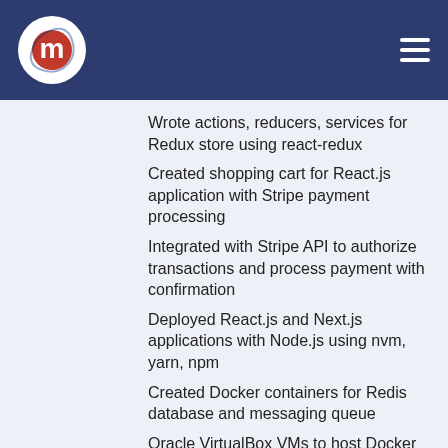Wrote actions, reducers, services for Redux store using react-redux
Created shopping cart for React.js application with Stripe payment processing
Integrated with Stripe API to authorize transactions and process payment with confirmation
Deployed React.js and Next.js applications with Node.js using nvm, yarn, npm
Created Docker containers for Redis database and messaging queue
Oracle VirtualBox VMs to host Docker on Windows machines
Front-end validation with Javascript yup module
UI navigation with react-router match/history
Internationalization with react-intl